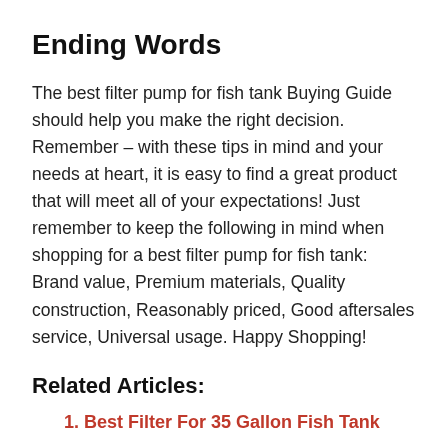Ending Words
The best filter pump for fish tank Buying Guide should help you make the right decision. Remember – with these tips in mind and your needs at heart, it is easy to find a great product that will meet all of your expectations! Just remember to keep the following in mind when shopping for a best filter pump for fish tank: Brand value, Premium materials, Quality construction, Reasonably priced, Good aftersales service, Universal usage. Happy Shopping!
Related Articles:
Best Filter For 35 Gallon Fish Tank